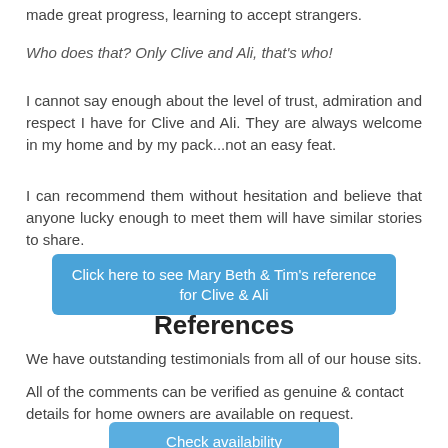made great progress, learning to accept strangers.
Who does that?  Only Clive and Ali, that's who!
I cannot say enough about the level of trust, admiration and respect I have for Clive and Ali.  They are always welcome in my home and by my pack...not an easy feat.
I can recommend them without hesitation and believe that anyone lucky enough to meet them will have similar stories to share.
Click here to see Mary Beth & Tim's reference for Clive & Ali
References
We have outstanding testimonials from all of our house sits.
All of the comments can be verified as genuine & contact details for home owners are available on request.
Check availability